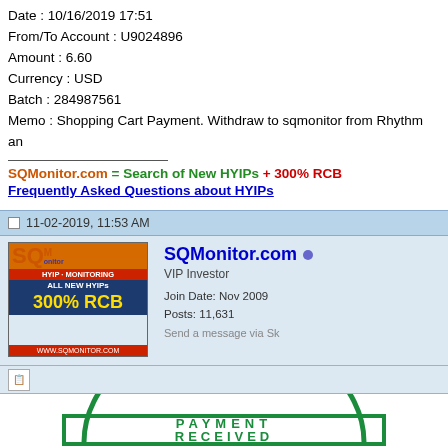Date : 10/16/2019 17:51
From/To Account : U9024896
Amount : 6.60
Currency : USD
Batch : 284987561
Memo : Shopping Cart Payment. Withdraw to sqmonitor from Rhythm an
SQMonitor.com = Search of New HYIPs + 300% RCB
Frequently Asked Questions about HYIPs
11-02-2019, 11:53 AM
[Figure (logo): SQMonitor HYIP Monitoring logo with orange SQM text, red bar showing HYIP MONITORING, blue ALL NEW HYIPs section, 300% RCB in yellow on navy, red www.sqmonitor.com bar]
SQMonitor.com
VIP Investor
Join Date: Nov 2009
Posts: 11,631
Send a message via Sk
[Figure (illustration): Green rubber stamp graphic showing PAYMENT RECEIVED text in block letters with a circular arc at top]